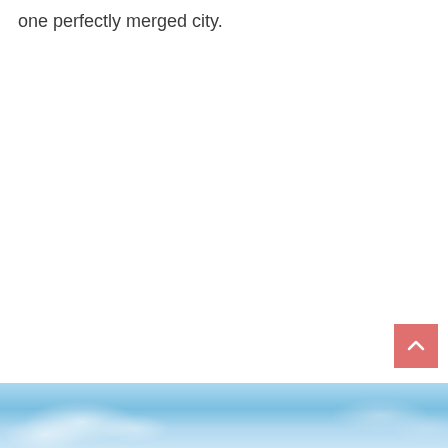one perfectly merged city.
[Figure (illustration): Scroll-to-top button: square with salmon/coral red background and white upward chevron arrow, positioned in lower right area of page]
[Figure (photo): Bottom strip of a blue sky and cloud photograph, partially visible at the bottom of the page]